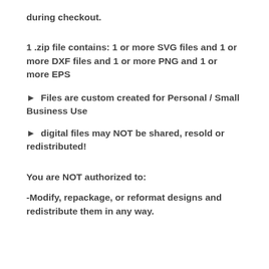during checkout.
1 .zip file contains: 1 or more SVG files and 1 or more DXF files and 1 or more PNG and 1 or more EPS
► Files are custom created for Personal / Small Business Use
► digital files may NOT be shared, resold or redistributed!
You are NOT authorized to:
-Modify, repackage, or reformat designs and redistribute them in any way.